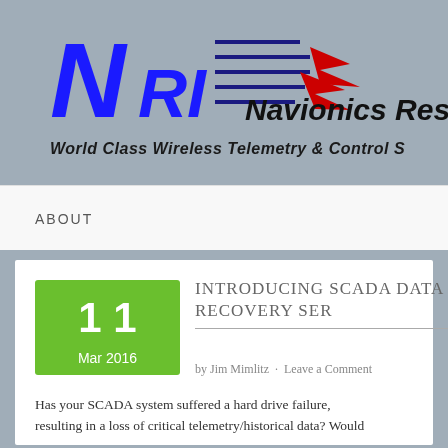[Figure (logo): NRI Navionics Research Inc. logo with antenna graphic and red lightning bolts]
World Class Wireless Telemetry & Control S
ABOUT
INTRODUCING SCADA DATA RECOVERY SER
by Jim Mimlitz · Leave a Comment
Has your SCADA system suffered a hard drive failure, resulting in a loss of critical telemetry/historical data? Would